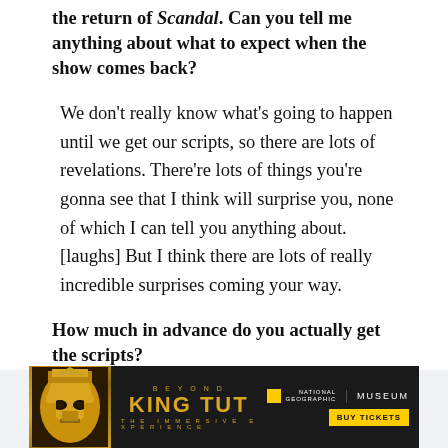the return of Scandal. Can you tell me anything about what to expect when the show comes back?
We don't really know what's going to happen until we get our scripts, so there are lots of revelations. There're lots of things you're gonna see that I think will surprise you, none of which I can tell you anything about. [laughs] But I think there are lots of really incredible surprises coming your way.
How much in advance do you actually get the scripts?
[Figure (other): Advertisement banner for 'Beyond King Tut: The Immersive Experience' by National Geographic Museum. Dark background with golden pharaoh face image on left, 'BEYOND KING TUT' text in gold, National Geographic logo, Museum label, and yellow BUY TICKETS button.]